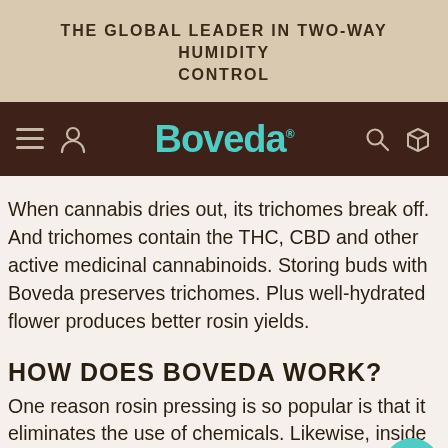THE GLOBAL LEADER IN TWO-WAY HUMIDITY CONTROL
[Figure (logo): Boveda brand navigation bar with hamburger menu, user icon, Boveda logo in teal, search icon, and box icon on dark brown background]
When cannabis dries out, its trichomes break off. And trichomes contain the THC, CBD and other active medicinal cannabinoids. Storing buds with Boveda preserves trichomes. Plus well-hydrated flower produces better rosin yields.
HOW DOES BOVEDA WORK?
One reason rosin pressing is so popular is that it eliminates the use of chemicals. Likewise, inside each Boveda is a secret...